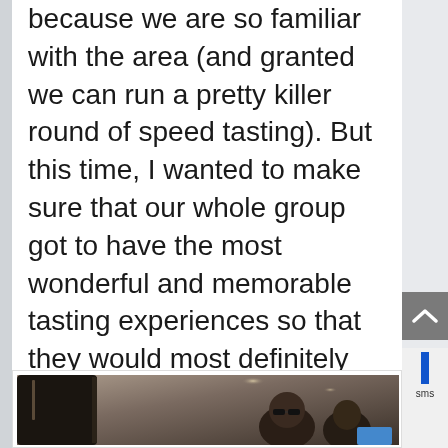because we are so familiar with the area (and granted we can run a pretty killer round of speed tasting). But this time, I wanted to make sure that our whole group got to have the most wonderful and memorable tasting experiences so that they would most definitely want to come back again!
These are the kinds of places you must call well in advance and set up tasting appointments.
They don't typically take drop-ins.
Back to our scheduled programming…
Our friendly driver, Aloise picks us up and we are off in style.
[Figure (photo): Photo of people inside a vehicle, seen through the window. Interior of a car or van with passengers visible.]